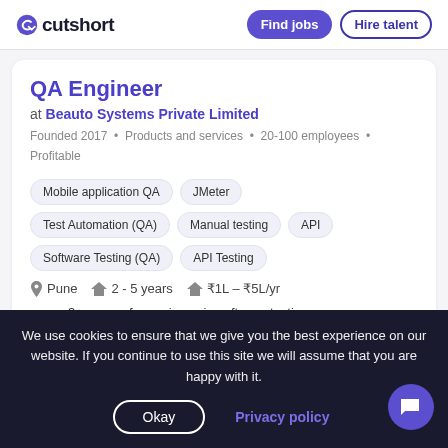cutshort | Find jobs | Hire talent
QA Engineer
at Beauto Systems Private Limited
Founded 2017 · Products and services · 20-100 employees · Profitable
Mobile application QA
JMeter
Test Automation (QA)
Manual testing
API
Software Testing (QA)
API Testing
Pune   2 - 5 years   ₹1L – ₹5L/yr
3+ years of experience in software testing
We use cookies to ensure that we give you the best experience on our website. If you continue to use this site we will assume that you are happy with it.
Okay | Privacy policy